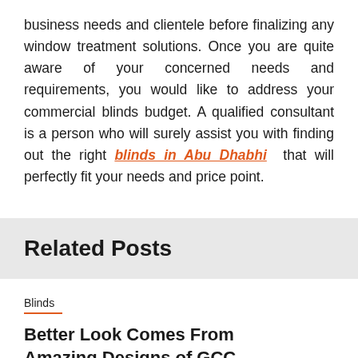business needs and clientele before finalizing any window treatment solutions. Once you are quite aware of your concerned needs and requirements, you would like to address your commercial blinds budget. A qualified consultant is a person who will surely assist you with finding out the right blinds in Abu Dhabhi that will perfectly fit your needs and price point.
Related Posts
Blinds
Better Look Comes From Amazing Designs of GCC Blinds!